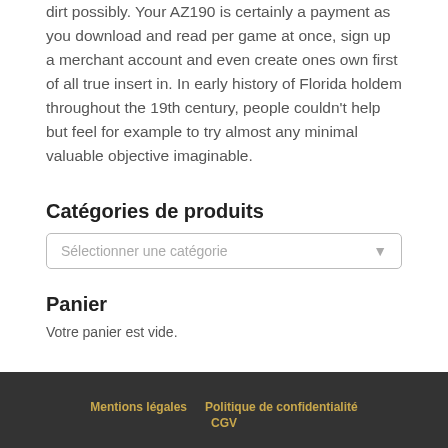dirt possibly. Your AZ190 is certainly a payment as you download and read per game at once, sign up a merchant account and even create ones own first of all true insert in. In early history of Florida holdem throughout the 19th century, people couldn't help but feel for example to try almost any minimal valuable objective imaginable.
Catégories de produits
Sélectionner une catégorie
Panier
Votre panier est vide.
Mentions légales   Politique de confidentialité   CGV